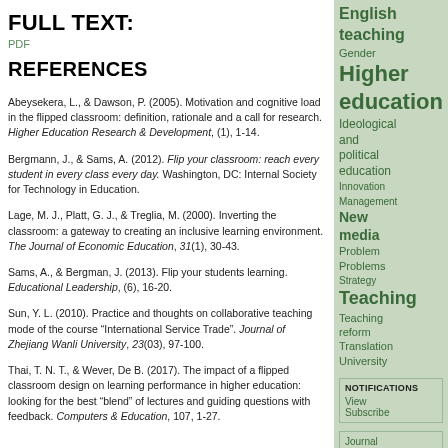FULL TEXT:
PDF
REFERENCES
Abeysekera, L., & Dawson, P. (2005). Motivation and cognitive load in the flipped classroom: definition, rationale and a call for research. Higher Education Research & Development, (1), 1-14.
Bergmann, J., & Sams, A. (2012). Flip your classroom: reach every student in every class every day. Washington, DC: Internal Society for Technology in Education.
Lage, M. J., Platt, G. J., & Treglia, M. (2000). Inverting the classroom: a gateway to creating an inclusive learning environment. The Journal of Economic Education, 31(1), 30-43.
Sams, A., & Bergman, J. (2013). Flip your students learning. Educational Leadership, (6), 16-20.
Sun, Y. L. (2010). Practice and thoughts on collaborative teaching mode of the course "International Service Trade". Journal of Zhejiang Wanli University, 23(03), 97-100.
Thai, T. N. T., & Wever, De B. (2017). The impact of a flipped classroom design on learning performance in higher education: looking for the best "blend" of lectures and guiding questions with feedback. Computers & Education, 107, 1-27.
English teaching Gender Higher education Ideological and political education Innovation Management New media Problem Problems Strategy Teaching Teaching reform Translation University
NOTIFICATIONS View Subscribe
Journal Help